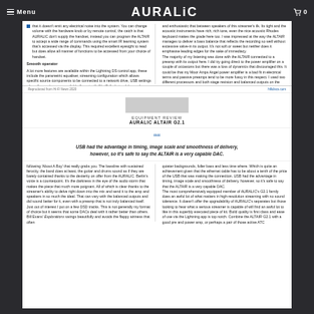Menu | AURALiC | 0
that it doesn't emit any electrical noise into the system. You can change volume with the hardware knob or by remote control, the catch is that AURALIC don't supply the handset, instead you can program the ALTAIR to accept a wide range of commands using the smart IR learning system that's accessed via the display. This required excellent eyesight to read but does allow all manner of functions to be accessed from your choice of handset.
Smooth operator
A lot more features are available within the Lightning DS control app, these include the parametric equaliser, streaming configuration which allows specific source components to be connected to a network drive, USB settings where four options are available (I went with 'VariSoft obviously), speaker placement options to compensate for practical rather than sound quality set-ups, and a home theatre bypass option for the line input. The various Wi-Fi inputs can be switched on and off and Roon and Tidal Connect modes likewise enabled. It wasn't until I had been using the ALTAIR G2.1 for some time that AURALIC mentioned that the balanced output has a bit more going for it than the single ended as a lot of my listeners refer to that connection, and to be honest it made a pretty good fist of things not least in the bass which seems
and enthusiastic that between speakers of this streamer's ilk. Its tight and the acoustic instruments have rich, rich tone, even the nice acoustic Rhodes keyboard makes the grade here too. I was impressed at the way the ALTAIR manages to deliver a bass balance that reflects the recording so well without excessive valve-in its output. It's not soft or sweet but neither does it emphasise leading edges for the sake of immediacy. The majority of my listening was done with the ALTAIR connected to a preamp with its output here. I did try going direct to the power amplifier on a couple of occasions but there was a loss of dynamics that discouraged this. It could be that my Moor Amps Angel power amplifier is a bad fit in electrical terms and passive preamps tend to be more fussy in this respect. I used two different processors and both stage revision and balanced outputs on the ALTAIR and preferred the external preamp every time. One thing I noticed about this streamer was how well it worked when I wasn't paying attention; some sources can be distracting in a bad way when they're in the background and others just plain dull but this one worked really well. I suspect that this is also related to the low noise and wide dynamic range, which allows it to sound almost as good when it's quiet as it does at more engaging levels. I tried the latter with Patti Smith's Gone Again where the song 'Beneath the Southern Cross' is powerful and evocative thanks to the depth of feeling in the voice, but it's the
Reproduced from Hi-Fi News 2020 | hifidiscs.com
EQUIPMENT REVIEW
AURALIC ALTAIR G2.1
USB had the advantage in timing, image scale and smoothness of delivery, however, so it's safe to say the ALTAIR is a very capable DAC.
following 'About A Boy' that really grabs you. The bassline with sustained ferocity, the band does at least, the guitar and drums sound as if they are barely contained thanks to the dexterity on offer from the AURALIC. Berlin's voice is a counterpoint. It's the darkness in the eye of the audio storm that makes the piece that much more poignant. All of which is clear thanks to the streamer's ability to delve right down into the mix and send it to the amp and speakers in so much the ideal. That can vary with the balanced outputs and did sound better for it, even with a preamp that is not truly balanced itself. Just out of interest I put on a few DSD tracks. This is not generally my format of choice but it seems that some DACs deal with it rather better than others. Bill Evans' Explorations swings beautifully and avoids the flappy airiness that often
quieter backgrounds, fuller bass and less time where. Which is quite an achievement given that the ethernet cable has to be about a tenth of the price of the USB that was making the connection. USB had the advantage in timing, image scale and smoothness of delivery, however, so it's safe to say that the ALTAIR is a very capable DAC. The most comprehensively equipped member of AURALIC's G2.1 family does an awful lot of what matters in high-resolution streaming with no sound tolerance. It doesn't offer the upgradability of AURALIC's separates but those looking to hear what a serious streamer is capable of will find an awful lot to like in this superbly executed piece of kit. Build quality is first class and ease of use via the Lightning app is top notch. Combine the ALTAIR G2.1 with a good pre and power amp, or perhaps a pair of those active ATC